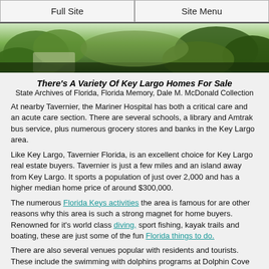Full Site | Site Menu
[Figure (photo): Outdoor tropical vegetation photo strip showing lush green plants and foliage]
There's A Variety Of Key Largo Homes For Sale
State Archives of Florida, Florida Memory, Dale M. McDonald Collection
At nearby Tavernier, the Mariner Hospital has both a critical care and an acute care section. There are several schools, a library and Amtrak bus service, plus numerous grocery stores and banks in the Key Largo area.
Like Key Largo, Tavernier Florida, is an excellent choice for Key Largo real estate buyers. Tavernier is just a few miles and an island away from Key Largo. It sports a population of just over 2,000 and has a higher median home price of around $300,000.
The numerous Florida Keys activities the area is famous for are other reasons why this area is such a strong magnet for home buyers. Renowned for it's world class diving, sport fishing, kayak trails and boating, these are just some of the fun Florida things to do.
There are also several venues popular with residents and tourists. These include the swimming with dolphins programs at Dolphin Cove or Dolphin Plus. There's also day trips to Everglades National Park and family outings at John Pennekamp State Park.